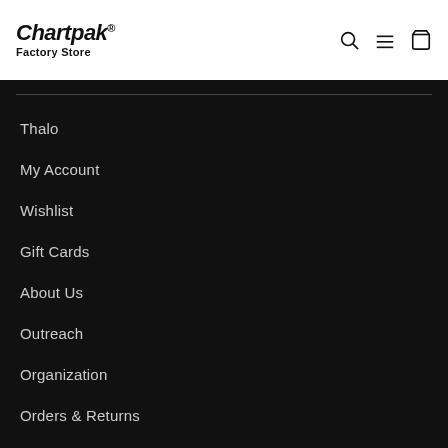Chartpak® Factory Store
Thalo
My Account
Wishlist
Gift Cards
About Us
Outreach
Organization
Orders & Returns
Privacy & Cookie Policy